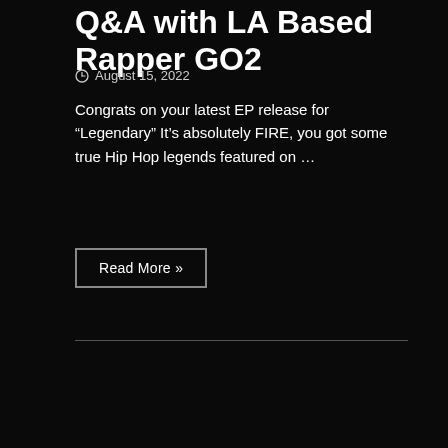Q&A with LA Based Rapper GO2
August 15, 2022
Congrats on your latest EP release for “Legendary” It’s absolutely FIRE, you got some true Hip Hop legends featured on …
Read More »